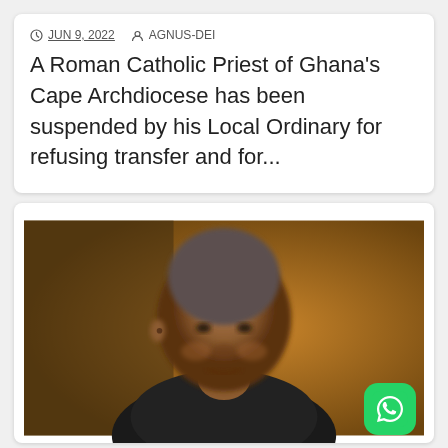JUN 9, 2022   AGNUS-DEI
A Roman Catholic Priest of Ghana's Cape Archdiocese has been suspended by his Local Ordinary for refusing transfer and for...
[Figure (photo): Portrait photo of a middle-aged African man in a dark suit, bald head, looking slightly to the side, with a warm brown/orange blurred background. A WhatsApp share button is overlaid in the bottom-right corner.]